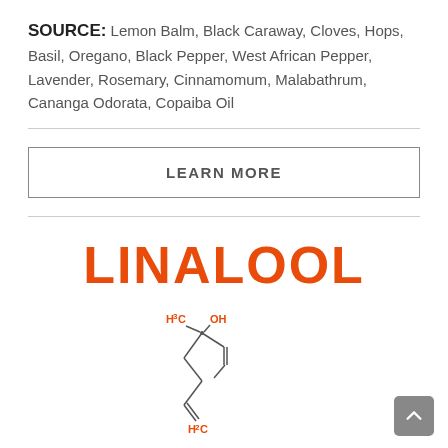SOURCE: Lemon Balm, Black Caraway, Cloves, Hops, Basil, Oregano, Black Pepper, West African Pepper, Lavender, Rosemary, Cinnamomum, Malabathrum, Cananga Odorata, Copaiba Oil
LEARN MORE
LINALOOL
[Figure (schematic): Chemical structure diagram of Linalool showing H3C and OH groups at top, connected to a chain with a double bond and H2C group]